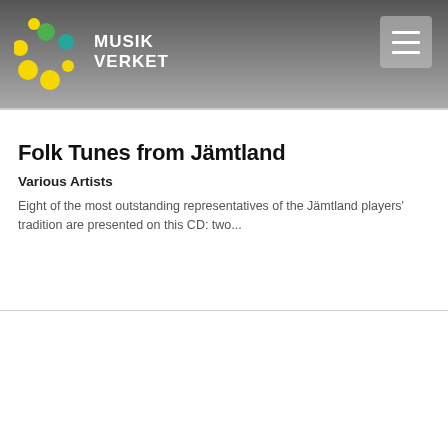MUSIKVERKET
Folk Tunes from Jämtland
Various Artists
Eight of the most outstanding representatives of the Jämtland players' tradition are presented on this CD: two...